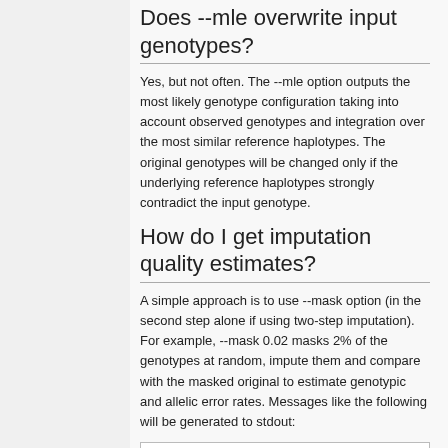Does --mle overwrite input genotypes?
Yes, but not often. The --mle option outputs the most likely genotype configuration taking into account observed genotypes and integration over the most similar reference haplotypes. The original genotypes will be changed only if the underlying reference haplotypes strongly contradict the input genotype.
How do I get imputation quality estimates?
A simple approach is to use --mask option (in the second step alone if using two-step imputation). For example, --mask 0.02 masks 2% of the genotypes at random, impute them and compare with the masked original to estimate genotypic and allelic error rates. Messages like the following will be generated to stdout:
Comparing 948352 masked